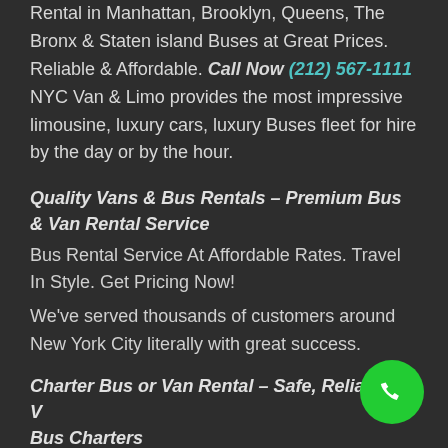Rental in Manhattan, Brooklyn, Queens, The Bronx & Staten island Buses at Great Prices. Reliable & Affordable. Call Now (212) 567-1111 NYC Van & Limo provides the most impressive limousine, luxury cars, luxury Buses fleet for hire by the day or by the hour.
Quality Vans & Bus Rentals – Premium Bus & Van Rental Service
Bus Rental Service At Affordable Rates. Travel In Style. Get Pricing Now!
We've served thousands of customers around New York City literally with great success.
Charter Bus or Van Rental – Safe, Reliable V... Bus Charters